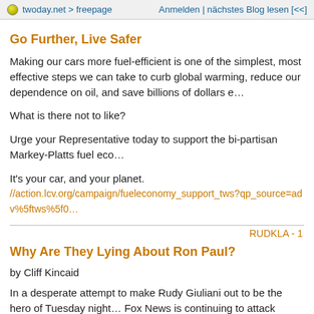twoday.net > freepage   Anmelden | nächstes Blog lesen [<<]
Go Further, Live Safer
Making our cars more fuel-efficient is one of the simplest, most effective steps we can take to curb global warming, reduce our dependence on oil, and save billions of dollars e…
What is there not to like?
Urge your Representative today to support the bi-partisan Markey-Platts fuel eco…
It's your car, and your planet.
//action.lcv.org/campaign/fueleconomy_support_tws?qp_source=adv%5ftws%5f0…
RUDKLA - 1
Why Are They Lying About Ron Paul?
by Cliff Kincaid
In a desperate attempt to make Rudy Giuliani out to be the hero of Tuesday night… Fox News is continuing to attack Texas Congressman Ron Paul for something he… Gibson's comment shows how Fox News has been eager to slant the news in fav… Giuliani, who claimed in his famous response to Paul that the congressman had s… U.S. "invited" the 9/11 attacks. That was false, too.